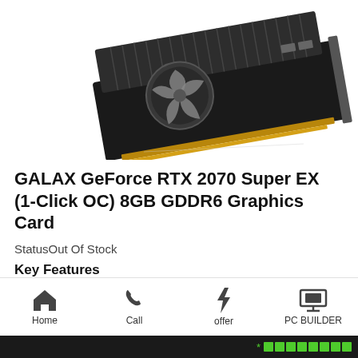[Figure (photo): GALAX GeForce RTX 2070 Super EX graphics card product photo showing the card from an angled top-down view with fan and heatsink visible]
GALAX GeForce RTX 2070 Super EX (1-Click OC) 8GB GDDR6 Graphics Card
StatusOut Of Stock
Key Features
Model: GALAX GeForce RTX 2070 Super EX (1-Click OC)
Home   Call   offer   PC BUILDER